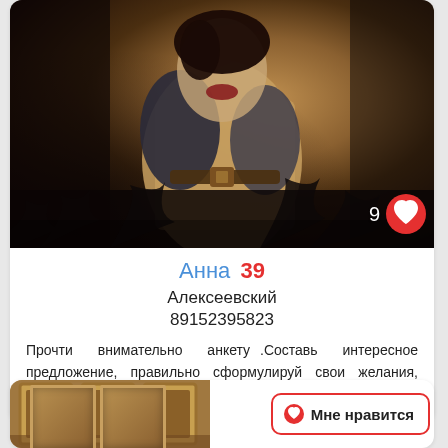[Figure (photo): A painting/artwork showing a couple embracing, wearing vintage/retro style clothing with warm browns and yellows. Background shows dark trees silhouetted. A heart icon with count 9 is overlaid in the bottom right corner.]
Анна 39
Алексеевский
89152395823
Прочти внимательно анкету .Составь интересное предложение, правильно сформулируй свои желания, позвони, и мы вместе подумаем, что из этого может...
[Figure (photo): Bottom of a second card showing an interior room with ornate mirrors/frames, partially visible. A 'Мне нравится' (Like) button with heart icon is shown on the right side.]